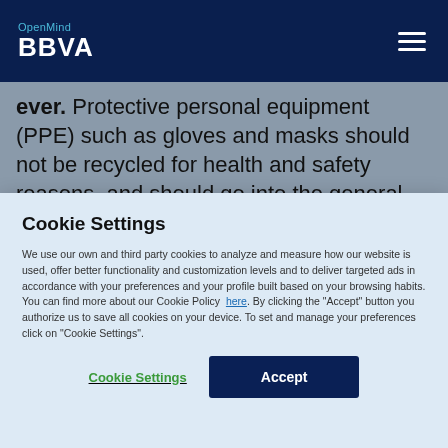OpenMind BBVA
ever. Protective personal equipment (PPE) such as gloves and masks should not be recycled for health and safety reasons, and should go into the general rubbish container, because “as soon as PPE is considered
Cookie Settings
We use our own and third party cookies to analyze and measure how our website is used, offer better functionality and customization levels and to deliver targeted ads in accordance with your preferences and your profile built based on your browsing habits. You can find more about our Cookie Policy here. By clicking the “Accept” button you authorize us to save all cookies on your device. To set and manage your preferences click on “Cookie Settings”.
Cookie Settings | Accept